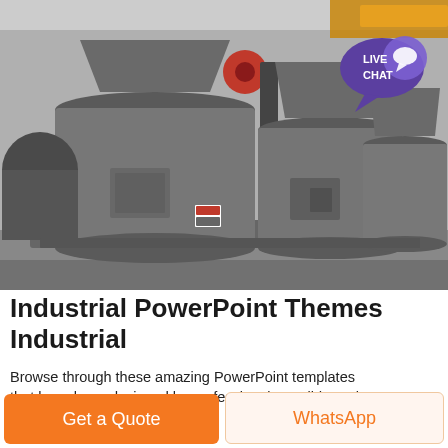[Figure (photo): Photograph of large grey industrial grinding/milling machines lined up in a factory warehouse. Multiple cylindrical heavy-duty mill units on platforms visible. A yellow crane beam is visible in the upper-right background. A 'Live Chat' speech-bubble badge is overlaid in the upper-right corner.]
Industrial PowerPoint Themes Industrial
Browse through these amazing PowerPoint templates that have been designed by professionals at SlideCocks
Get a Quote
WhatsApp